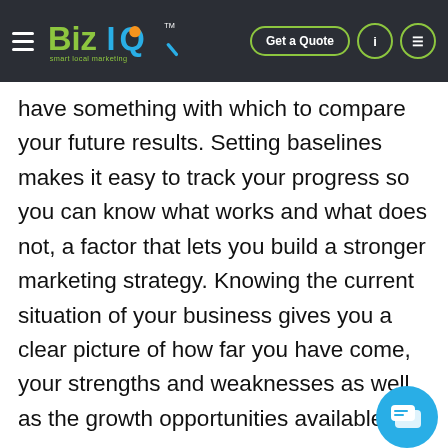BizIQ — smart local marketing | Get a Quote
have something with which to compare your future results. Setting baselines makes it easy to track your progress so you can know what works and what does not, a factor that lets you build a stronger marketing strategy. Knowing the current situation of your business gives you a clear picture of how far you have come, your strengths and weaknesses as well as the growth opportunities available for you.